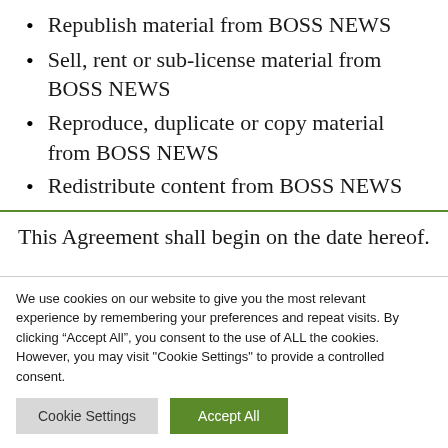Republish material from BOSS NEWS
Sell, rent or sub-license material from BOSS NEWS
Reproduce, duplicate or copy material from BOSS NEWS
Redistribute content from BOSS NEWS
This Agreement shall begin on the date hereof.
We use cookies on our website to give you the most relevant experience by remembering your preferences and repeat visits. By clicking “Accept All”, you consent to the use of ALL the cookies. However, you may visit "Cookie Settings" to provide a controlled consent.